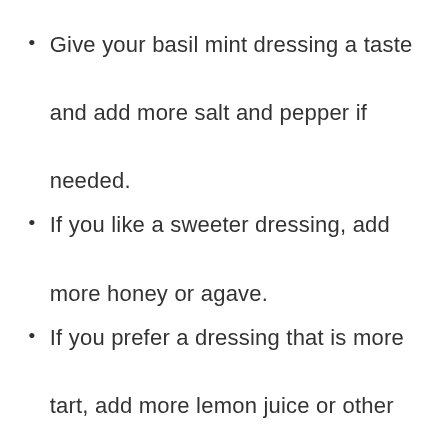Give your basil mint dressing a taste and add more salt and pepper if needed.
If you like a sweeter dressing, add more honey or agave.
If you prefer a dressing that is more tart, add more lemon juice or other citrus flavors.
Before serving each time, vigorously shake the closed dressing container